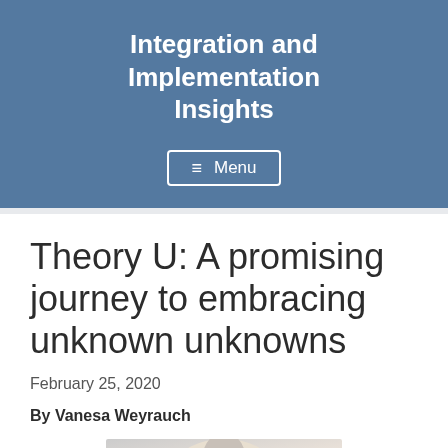Integration and Implementation Insights
Theory U: A promising journey to embracing unknown unknowns
February 25, 2020
By Vanesa Weyrauch
[Figure (photo): Portrait photo of Vanesa Weyrauch, a blonde woman]